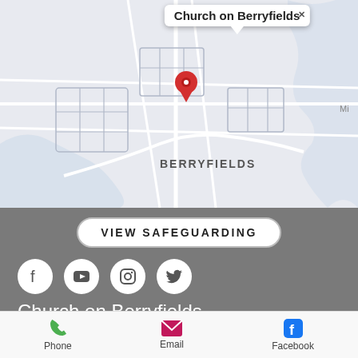[Figure (map): Google Maps screenshot showing Berryfields area with a red location pin and a tooltip bubble reading 'Church on Berryfields']
VIEW SAFEGUARDING
[Figure (infographic): Four social media icons in white circles: Facebook, YouTube, Instagram, Twitter]
Church on Berryfields
28 Domino Way
Berryfields
Aylesbury
Bucks HP18 0FZ
Phone  Email  Facebook